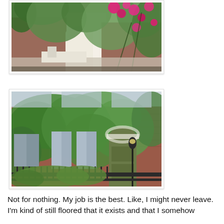[Figure (photo): Garden scene with lush green trees and shrubs, pink flowering roses in foreground, brick building visible in background through foliage]
[Figure (photo): Brick townhouse facade completely covered in green ivy, with pale blue shuttered windows, an arched doorway with olive green door, black iron fence in front, and a street lamp]
Not for nothing. My job is the best. Like, I might never leave. I'm kind of still floored that it exists and that I somehow landed it.